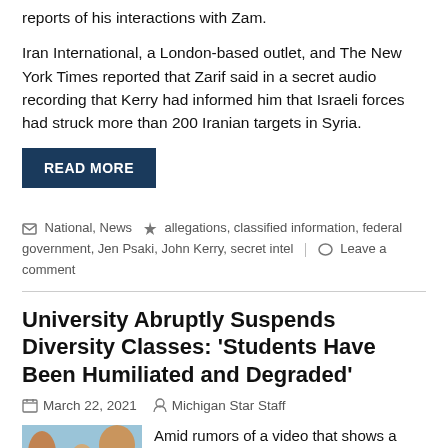reports of his interactions with Zam.
Iran International, a London-based outlet, and The New York Times reported that Zarif said in a secret audio recording that Kerry had informed him that Israeli forces had struck more than 200 Iranian targets in Syria.
READ MORE
National, News  allegations, classified information, federal government, Jen Psaki, John Kerry, secret intel  Leave a comment
University Abruptly Suspends Diversity Classes: 'Students Have Been Humiliated and Degraded'
March 22, 2021   Michigan Star Staff
[Figure (photo): Outdoor campus scene with trees and students walking, autumn foliage]
Amid rumors of a video that shows a student being targeted during a diversity lesson at Boise State University, administrators have